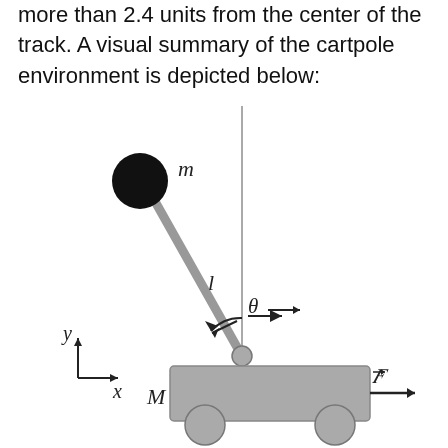more than 2.4 units from the center of the track. A visual summary of the cartpole environment is depicted below:
[Figure (engineering-diagram): Cartpole environment diagram showing a cart (mass M) on wheels on a track, with a pole of length l attached at a pivot point on top of the cart. A ball of mass m is at the top of the pole. The pole is tilted to the left at angle theta from the vertical. A vertical reference line is shown. Coordinate axes y (up) and x (right) are shown at lower left. A force vector F points to the right from the cart.]